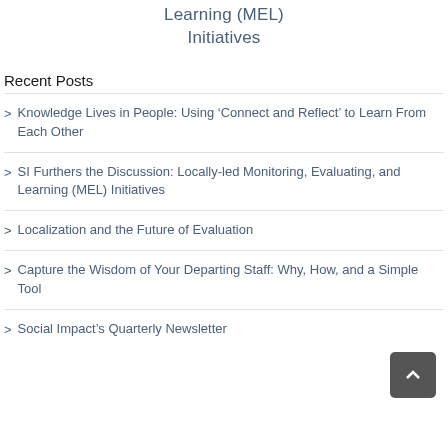Learning (MEL) Initiatives
Recent Posts
Knowledge Lives in People: Using 'Connect and Reflect' to Learn From Each Other
SI Furthers the Discussion: Locally-led Monitoring, Evaluating, and Learning (MEL) Initiatives
Localization and the Future of Evaluation
Capture the Wisdom of Your Departing Staff: Why, How, and a Simple Tool
Social Impact's Quarterly Newsletter